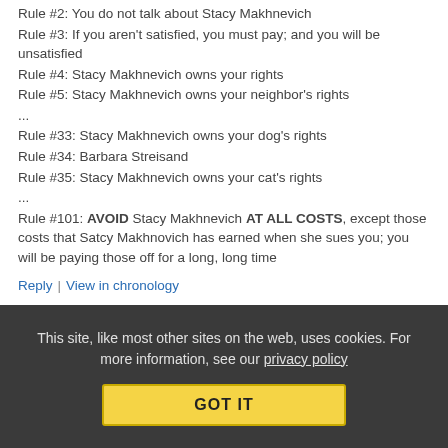Rule #2: You do not talk about Stacy Makhnevich
Rule #3: If you aren't satisfied, you must pay; and you will be unsatisfied
Rule #4: Stacy Makhnevich owns your rights
Rule #5: Stacy Makhnevich owns your neighbor's rights
...
Rule #33: Stacy Makhnevich owns your dog's rights
Rule #34: Barbara Streisand
Rule #35: Stacy Makhnevich owns your cat's rights
...
Rule #101: AVOID Stacy Makhnevich AT ALL COSTS, except those costs that Satcy Makhnovich has earned when she sues you; you will be paying those off for a long, long time
Reply | View in chronology
This site, like most other sites on the web, uses cookies. For more information, see our privacy policy
GOT IT